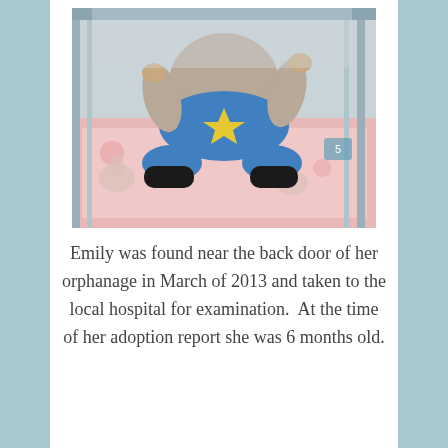[Figure (photo): A young child sitting in a metal-railed crib/bed, wearing blue pants with yellow star design and dark shoes, on a pink floral patterned mattress/bedding.]
Emily was found near the back door of her orphanage in March of 2013 and taken to the local hospital for examination.  At the time of her adoption report she was 6 months old.